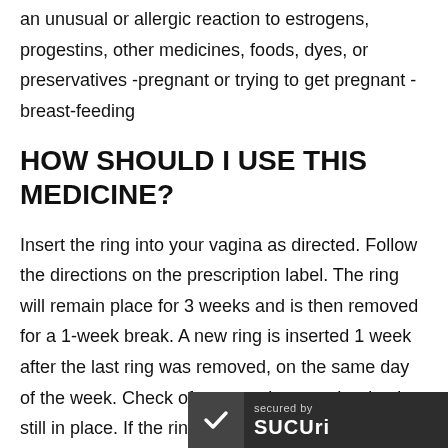an unusual or allergic reaction to estrogens, progestins, other medicines, foods, dyes, or preservatives -pregnant or trying to get pregnant -breast-feeding
HOW SHOULD I USE THIS MEDICINE?
Insert the ring into your vagina as directed. Follow the directions on the prescription label. The ring will remain place for 3 weeks and is then removed for a 1-week break. A new ring is inserted 1 week after the last ring was removed, on the same day of the week. Check often to make sure the ring is still in place. If the ring was out of the vagina for an unknown amount of time, you may not be protected from pregnancy. Perform a pregnancy test and call yo... use more often than directed. A patient package insert